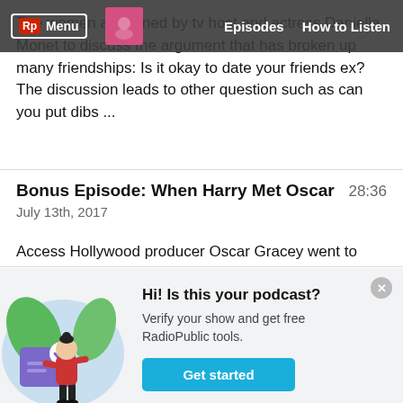Rp Menu | Episodes | How to Listen
The women are joined by tv host and actress Daniella Monet to discuss the argument that has broken up many friendships: Is it okay to date your friends ex? The discussion leads to other question such as can you put dibs ...
Bonus Episode: When Harry Met Oscar
July 13th, 2017
28:36
Access Hollywood producer Oscar Gracey went to interview Harry Styles at the recent press junket for the movie Dunkirk. As a self proclaimed "stan" ...
[Figure (illustration): Illustration of a woman in red top and black pants standing next to a purple card with a checkmark, surrounded by green leaves, on a light blue circular background.]
Hi! Is this your podcast? Verify your show and get free RadioPublic tools.
Get started